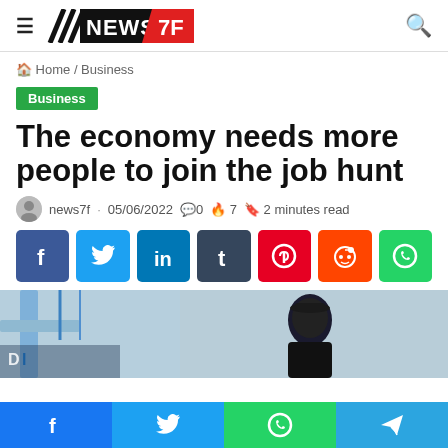NEWS 7F
Home / Business
Business
The economy needs more people to join the job hunt
news7f · 05/06/2022 · 0 · 7 · 2 minutes read
[Figure (other): Social share buttons: Facebook, Twitter, LinkedIn, Tumblr, Pinterest, Reddit, WhatsApp]
[Figure (photo): Person in dark hoodie and cap, industrial/logistics background]
[Figure (other): Bottom sticky share bar: Facebook, Twitter, WhatsApp, Telegram]